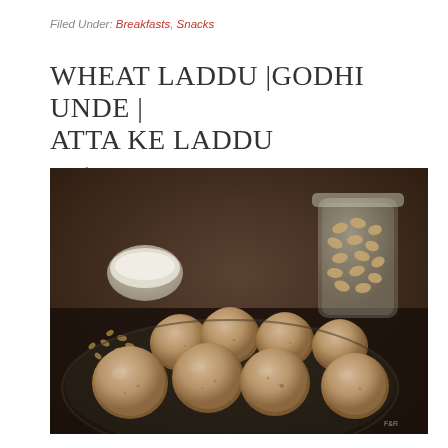Filed Under: Breakfasts, Snacks
WHEAT LADDU |GODHI UNDE | ATTA KE LADDU
September 25, 2014 By Raji — 0 Comments
[Figure (photo): Close-up photo of wheat laddu balls arranged on a dark plate, with cashews in a glass jar in the background and some nuts scattered around.]